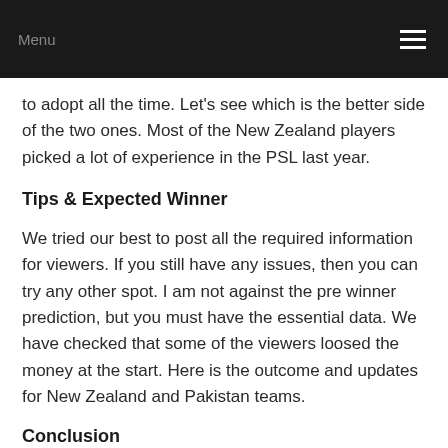Menu
to adopt all the time. Let's see which is the better side of the two ones. Most of the New Zealand players picked a lot of experience in the PSL last year.
Tips & Expected Winner
We tried our best to post all the required information for viewers. If you still have any issues, then you can try any other spot. I am not against the pre winner prediction, but you must have the essential data. We have checked that some of the viewers loosed the money at the start. Here is the outcome and updates for New Zealand and Pakistan teams.
Conclusion